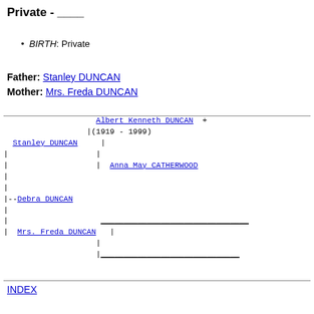Private - ____
BIRTH: Private
Father: Stanley DUNCAN
Mother: Mrs. Freda DUNCAN
[Figure (other): Genealogy family tree diagram showing ancestors: Albert Kenneth DUNCAN + (1919-1999), Stanley DUNCAN, Anna May CATHERWOOD, Debra DUNCAN, Mrs. Freda DUNCAN with connecting lines]
INDEX